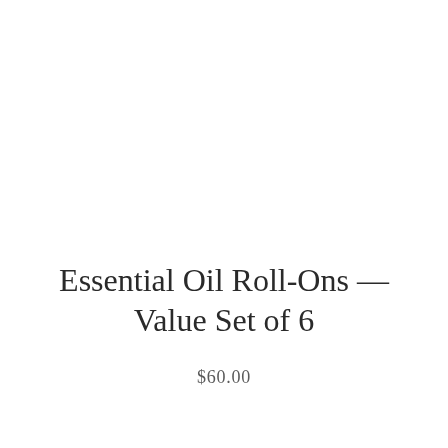Essential Oil Roll-Ons — Value Set of 6
$60.00